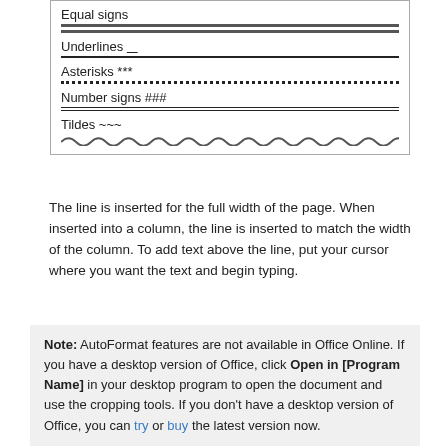[Figure (other): A bordered table showing different horizontal rule styles: Equal signs (double line), Underlines (solid thin line), Asterisks (dotted line), Number signs (double border line), Tildes (wavy line)]
The line is inserted for the full width of the page. When inserted into a column, the line is inserted to match the width of the column. To add text above the line, put your cursor where you want the text and begin typing.
Note: AutoFormat features are not available in Office Online. If you have a desktop version of Office, click Open in [Program Name] in your desktop program to open the document and use the cropping tools. If you don't have a desktop version of Office, you can try or buy the latest version now.